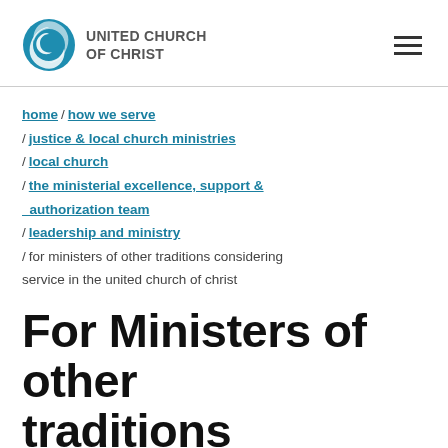UNITED CHURCH OF CHRIST [logo]
home / how we serve / justice & local church ministries / local church / the ministerial excellence, support & authorization team / leadership and ministry / for ministers of other traditions considering service in the united church of christ
For Ministers of other traditions considering service in the United